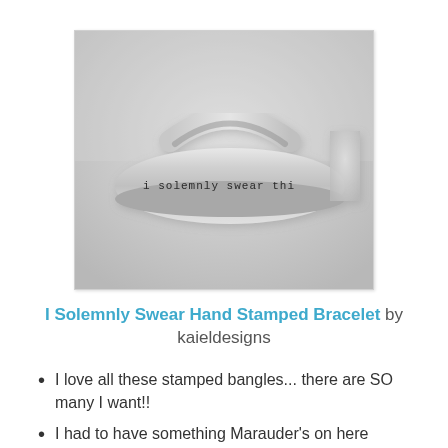[Figure (photo): Close-up photograph of a silver cuff bracelet stamped with the text 'i solemnly swear thi...' on a light grey background]
I Solemnly Swear Hand Stamped Bracelet by kaieldesigns
I love all these stamped bangles... there are SO many I want!!
I had to have something Marauder's on here